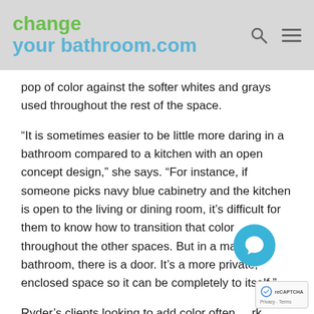changeyourbathroom.com
pop of color against the softer whites and grays used throughout the rest of the space.
“It is sometimes easier to be little more daring in a bathroom compared to a kitchen with an open concept design,” she says. “For instance, if someone picks navy blue cabinetry and the kitchen is open to the living or dining room, it’s difficult for them to know how to transition that color throughout the other spaces. But in a master bathroom, there is a door. It’s a more private, enclosed space so it can be completely to itself.”
Ryder’s clients looking to add color often da shades as well, such as dark blue, green and even b which offers the ultimate contrast with warm white. When